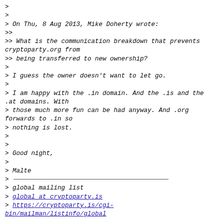>
>
> On Thu, 8 Aug 2013, Mike Doherty wrote:
>>
>> What is the communication breakdown that prevents cryptoparty.org from
>> being transferred to new ownership?
>
> I guess the owner doesn't want to let go.
>
> I am happy with the .in domain. And the .is and the .at domains. With
> those much more fun can be had anyway. And .org forwards to .in so
> nothing is lost.
>
>
> Good night,
>
> Malte
> ___________________________________________
> global mailing list
> global at cryptoparty.is
> https://cryptoparty.is/cgi-bin/mailman/listinfo/global
--------------- next part ---------------
A non-text attachment was scrubbed...
Name: signature.asc